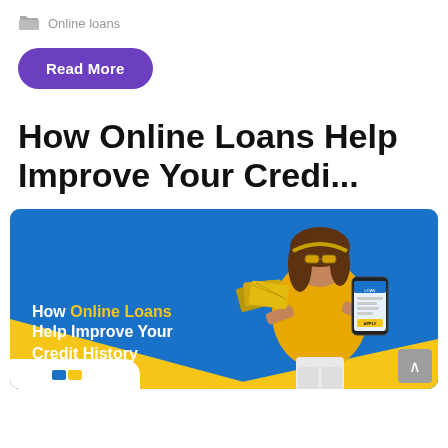Online loans
Read More
How Online Loans Help Improve Your Credi...
[Figure (illustration): Promotional banner with blue and yellow background showing a woman in a yellow outfit holding cash and a smartphone. Text reads: 'How Online Loans Help Improve Your Credit History']